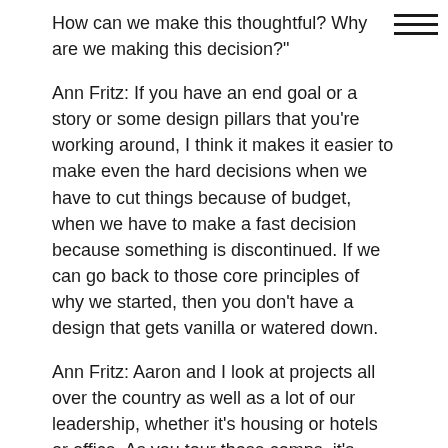How can we make this thoughtful? Why are we making this decision?"
Ann Fritz: If you have an end goal or a story or some design pillars that you're working around, I think it makes it easier to make even the hard decisions when we have to cut things because of budget, when we have to make a fast decision because something is discontinued. If we can go back to those core principles of why we started, then you don't have a design that gets vanilla or watered down.
Ann Fritz: Aaron and I look at projects all over the country as well as a lot of our leadership, whether it's housing or hotels or office. As you tour those comps, it's interesting to feel like, "You know what? We got this." Like, "We can handle this. We can do it differently." I call it prepackaged luxury when I walk into a lot of these other projects. They're nice. They hit the price point. I'm sure they meet the client's per forma. They're beautiful. They've got quality materials. But there's